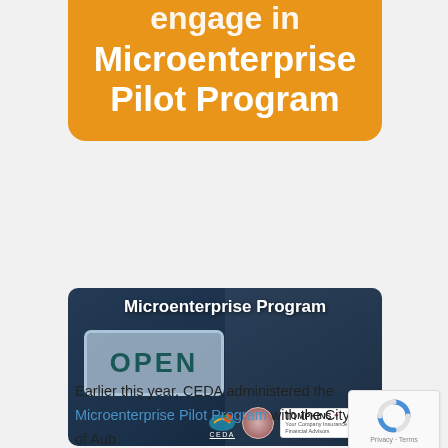engage in Microenterprise Pilot Program
[Figure (photo): Photo showing a person holding an OPEN sign with 'Microenterprise Program' text overlay, and logos for CEDA, a city seal, and Tompkins Insurance at the bottom.]
Earlier this year, CEDA administered the Microenterprise Pilot Program with the City of Auburn. The program was directed at low-to-moderate income